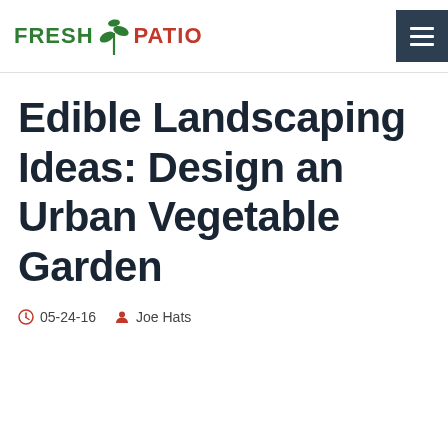FRESH PATIO
Edible Landscaping Ideas: Design an Urban Vegetable Garden
05-24-16  Joe Hats